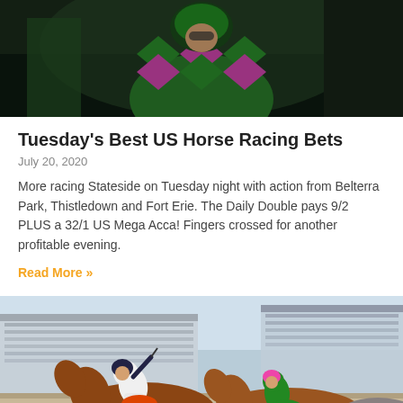[Figure (photo): Close-up photo of a horse racing jockey wearing green and pink/purple diamond-pattern silks, dark background]
Tuesday's Best US Horse Racing Bets
July 20, 2020
More racing Stateside on Tuesday night with action from Belterra Park, Thistledown and Fort Erie. The Daily Double pays 9/2 PLUS a 32/1 US Mega Acca! Fingers crossed for another profitable evening.
Read More »
[Figure (photo): Horse racing photo showing two horses and jockeys racing closely together at a track with large grandstand crowd in background]